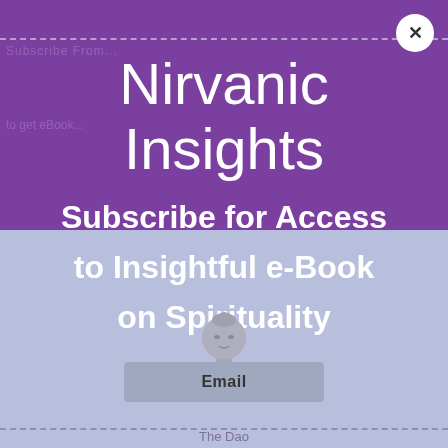Nirvanic Insights
Subscribe for Access to Insightful e-Book on Spirituality
[Figure (illustration): A small grey Buddha head statue illustration centered on the light blue-purple lower section]
Email
The Dao